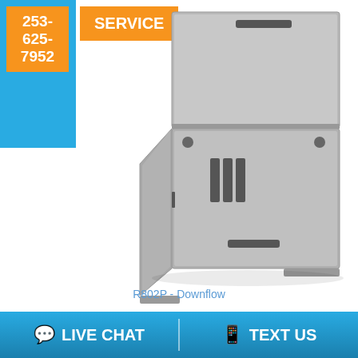253-625-7952
SERVICE
[Figure (photo): R802P downflow furnace unit, gray metal cabinet with two compartments, vents, and mounting feet]
R802P - Downflow
LIVE CHAT
TEXT US